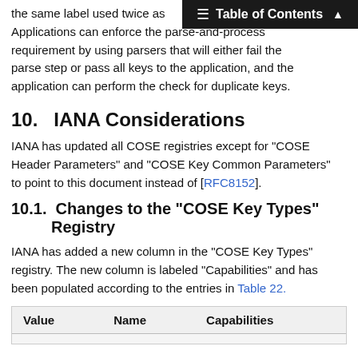the same label used twice as Applications can enforce the parse-and-process requirement by using parsers that will either fail the parse step or pass all keys to the application, and the application can perform the check for duplicate keys.
10.   IANA Considerations
IANA has updated all COSE registries except for "COSE Header Parameters" and "COSE Key Common Parameters" to point to this document instead of [RFC8152].
10.1.  Changes to the "COSE Key Types" Registry
IANA has added a new column in the "COSE Key Types" registry. The new column is labeled "Capabilities" and has been populated according to the entries in Table 22.
| Value | Name | Capabilities |
| --- | --- | --- |